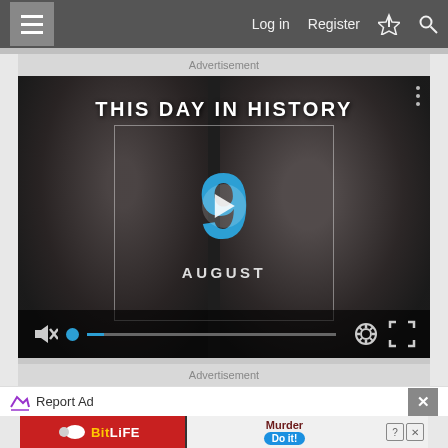Log in  Register
Advertisement
[Figure (screenshot): Video player showing 'THIS DAY IN HISTORY' with a large blue number 9, the word AUGUST, and a play button centered in the frame. Dark background with monochrome figures. Controls bar at bottom with mute, progress bar, settings and fullscreen icons.]
Advertisement
Report Ad
[Figure (screenshot): BitLife advertisement banner showing BitLife logo on red background and 'Murder Do it!' text with blue button]